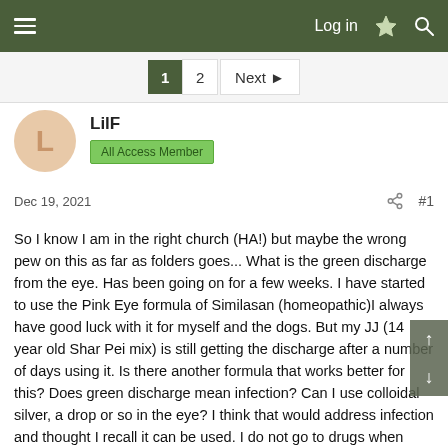Log in
1  2  Next
LilF
All Access Member
Dec 19, 2021  #1
So I know I am in the right church (HA!) but maybe the wrong pew on this as far as folders goes... What is the green discharge from the eye. Has been going on for a few weeks. I have started to use the Pink Eye formula of Similasan (homeopathic)I always have good luck with it for myself and the dogs. But my JJ (14 year old Shar Pei mix) is still getting the discharge after a number of days using it. Is there another formula that works better for this? Does green discharge mean infection? Can I use colloidal silver, a drop or so in the eye? I think that would address infection and thought I recall it can be used. I do not go to drugs when something else can be tried.